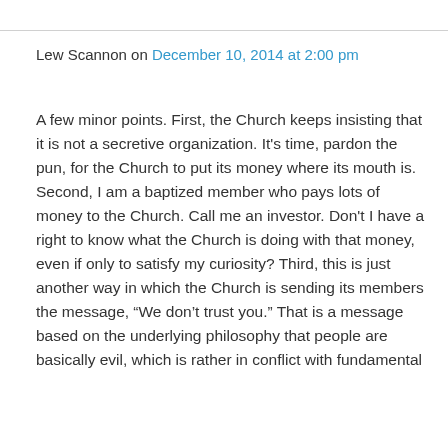Lew Scannon on December 10, 2014 at 2:00 pm
A few minor points. First, the Church keeps insisting that it is not a secretive organization. It's time, pardon the pun, for the Church to put its money where its mouth is. Second, I am a baptized member who pays lots of money to the Church. Call me an investor. Don't I have a right to know what the Church is doing with that money, even if only to satisfy my curiosity? Third, this is just another way in which the Church is sending its members the message, “We don’t trust you.” That is a message based on the underlying philosophy that people are basically evil, which is rather in conflict with fundamental